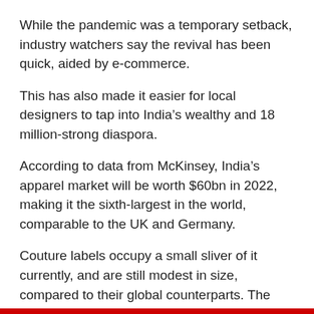While the pandemic was a temporary setback, industry watchers say the revival has been quick, aided by e-commerce.
This has also made it easier for local designers to tap into India’s wealthy and 18 million-strong diaspora.
According to data from McKinsey, India’s apparel market will be worth $60bn in 2022, making it the sixth-largest in the world, comparable to the UK and Germany.
Couture labels occupy a small sliver of it currently, and are still modest in size, compared to their global counterparts. The annual turnover in India’s top 10 couture houses ranges between $25-$100m, according to the Economic Times.
But the interest in them is “not because of who they are